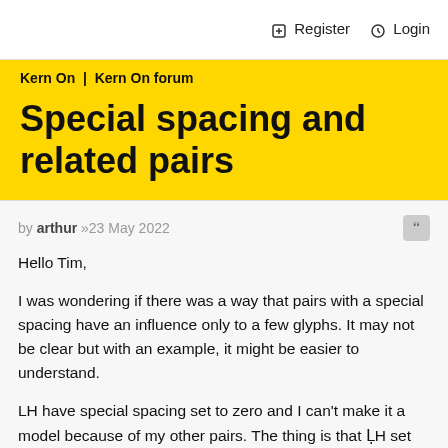Register  Login
Kern On  |  Kern On forum
Special spacing and related pairs
by arthur »23 May 2022
Hello Tim,

I was wondering if there was a way that pairs with a special spacing have an influence only to a few glyphs. It may not be clear but with an example, it might be easier to understand.

LH have special spacing set to zero and I can't make it a model because of my other pairs. The thing is that ḶH set